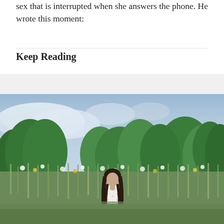sex that is interrupted when she answers the phone. He wrote this moment:
Keep Reading
[Figure (photo): A young woman with dark hair wearing a white patterned top stands outdoors among tall wildflowers and green trees under a partly cloudy blue sky.]